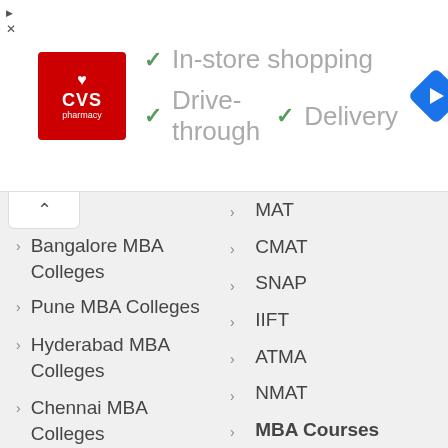[Figure (screenshot): CVS Pharmacy advertisement banner with checkmarks for In-store shopping, Drive-through, and Delivery, plus a navigation arrow icon]
Bangalore MBA Colleges
Pune MBA Colleges
Hyderabad MBA Colleges
Chennai MBA Colleges
MBA College Reviews
MAT
CMAT
SNAP
IIFT
ATMA
NMAT
MBA Courses
MBA in HR
MBA in Finance
MBA in Marketing
MBA in IT
MBA in Hospital Administration